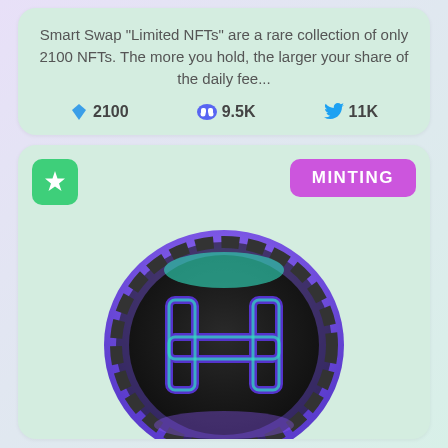Smart Swap "Limited NFTs" are a rare collection of only 2100 NFTs. The more you hold, the larger your share of the daily fee...
💎 2100   🎮 9.5K   🐦 11K
[Figure (illustration): A 3D rendered coin/token with a stylized H logo, teal and purple gradient rim, on a mint green background card. Green badge with star icon top left, purple MINTING badge top right.]